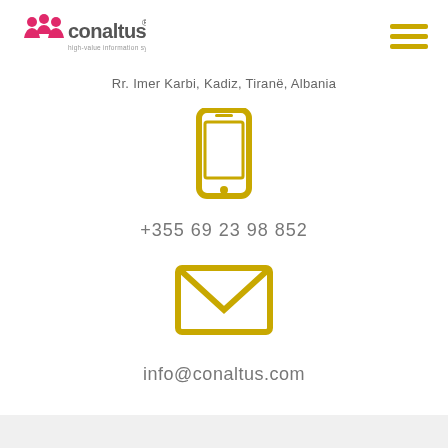conaltus logo and hamburger menu
Rr. Imer Karbi, Kadiz, Tirane, Albania
[Figure (illustration): Golden/orange smartphone icon]
+355 69 23 98 852
[Figure (illustration): Golden/orange envelope/email icon]
info@conaltus.com
[Figure (illustration): Facebook and LinkedIn social media icons in golden color]
© 2022 CONALUTS  conaltus logo